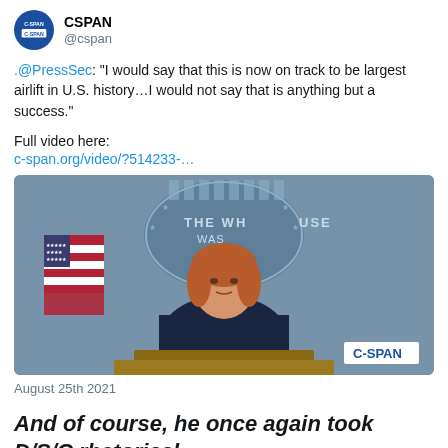[Figure (other): CSPAN Twitter avatar - dark blue circle with C-SPAN logo in white]
CSPAN
@cspan
.@PressSec: "I would say that this is now on track to be largest airlift in U.S. history...I would not say that is anything but a success."
Full video here:
c-span.org/video/?514233-...
[Figure (photo): Press Secretary Jen Psaki speaking at the White House press briefing podium, with American flag and White House seal visible in background. C-SPAN watermark in bottom right corner.]
August 25th 2021
And of course, he once again took D/S/C rhetorical "responsibility" while blaming Trump and the